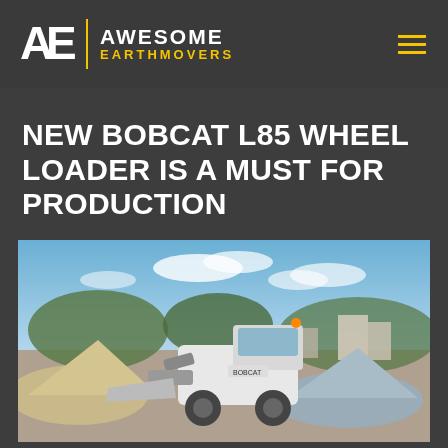AWESOME EARTHMOVERS
NEW BOBCAT L85 WHEEL LOADER IS A MUST FOR PRODUCTION
[Figure (photo): Bobcat L85 wheel loader on a worksite with sand piles, industrial buildings in background, hills and blue sky with clouds]